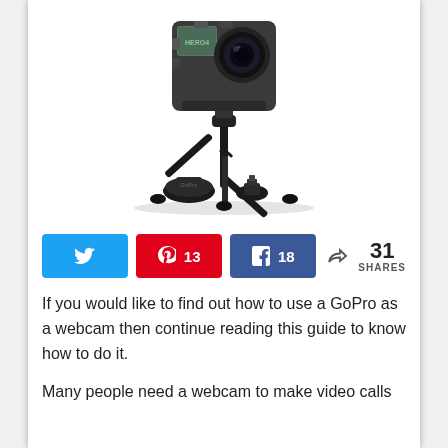[Figure (photo): GoPro HERO4 action camera mounted on a small black tripod, with two accessory mounts displayed in front on a white background.]
If you would like to find out how to use a GoPro as a webcam then continue reading this guide to know how to do it.
Many people need a webcam to make video calls